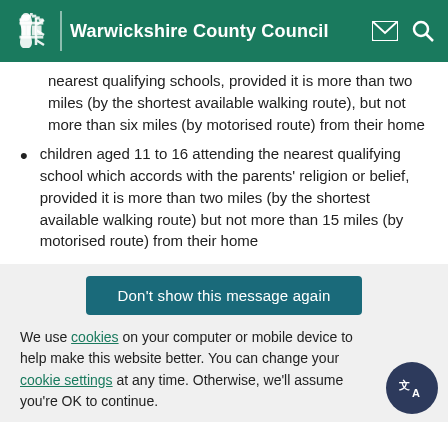Warwickshire County Council
nearest qualifying schools, provided it is more than two miles (by the shortest available walking route), but not more than six miles (by motorised route) from their home
children aged 11 to 16 attending the nearest qualifying school which accords with the parents' religion or belief, provided it is more than two miles (by the shortest available walking route) but not more than 15 miles (by motorised route) from their home
Don't show this message again
We use cookies on your computer or mobile device to help make this website better. You can change your cookie settings at any time. Otherwise, we'll assume you're OK to continue.